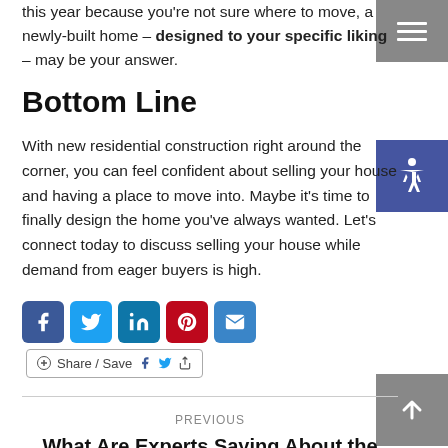this year because you're not sure where to move, a newly-built home – designed to your specific liking – may be your answer.
Bottom Line
With new residential construction right around the corner, you can feel confident about selling your house and having a place to move into. Maybe it's time to finally design the home you've always wanted. Let's connect today to discuss selling your house while demand from eager buyers is high.
[Figure (infographic): Social media sharing icons: Facebook, Twitter, LinkedIn, Pinterest, Email. Also a Share/Save button with Facebook, Twitter, and share icons.]
PREVIOUS
What Are Experts Saying About the Rest of